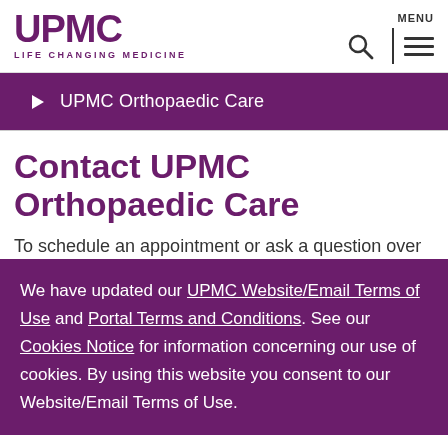UPMC LIFE CHANGING MEDICINE | MENU
UPMC Orthopaedic Care
Contact UPMC Orthopaedic Care
To schedule an appointment or ask a question over
We have updated our UPMC Website/Email Terms of Use and Portal Terms and Conditions. See our Cookies Notice for information concerning our use of cookies. By using this website you consent to our Website/Email Terms of Use.